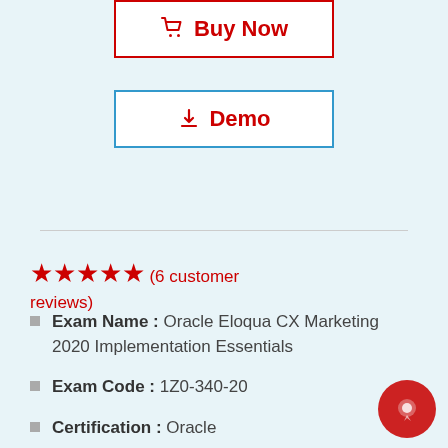[Figure (other): Buy Now button with shopping cart icon, red border]
[Figure (other): Demo button with download icon, blue border]
★★★★★ (6 customer reviews)
Exam Name : Oracle Eloqua CX Marketing 2020 Implementation Essentials
Exam Code : 1Z0-340-20
Certification : Oracle